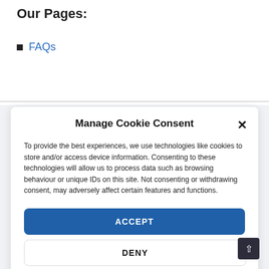Our Pages:
FAQs
Manage Cookie Consent
To provide the best experiences, we use technologies like cookies to store and/or access device information. Consenting to these technologies will allow us to process data such as browsing behaviour or unique IDs on this site. Not consenting or withdrawing consent, may adversely affect certain features and functions.
ACCEPT
DENY
VIEW PREFERENCES
Cookie Policy   Privacy Statement